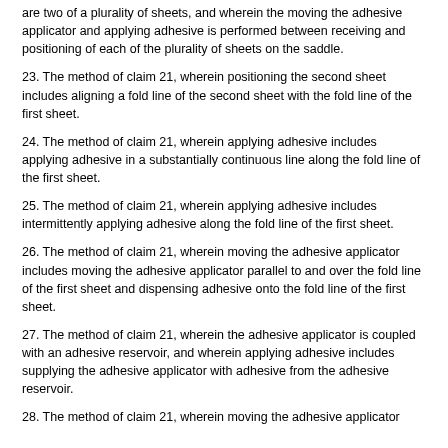are two of a plurality of sheets, and wherein the moving the adhesive applicator and applying adhesive is performed between receiving and positioning of each of the plurality of sheets on the saddle.
23. The method of claim 21, wherein positioning the second sheet includes aligning a fold line of the second sheet with the fold line of the first sheet.
24. The method of claim 21, wherein applying adhesive includes applying adhesive in a substantially continuous line along the fold line of the first sheet.
25. The method of claim 21, wherein applying adhesive includes intermittently applying adhesive along the fold line of the first sheet.
26. The method of claim 21, wherein moving the adhesive applicator includes moving the adhesive applicator parallel to and over the fold line of the first sheet and dispensing adhesive onto the fold line of the first sheet.
27. The method of claim 21, wherein the adhesive applicator is coupled with an adhesive reservoir, and wherein applying adhesive includes supplying the adhesive applicator with adhesive from the adhesive reservoir.
28. The method of claim 21, wherein moving the adhesive applicator